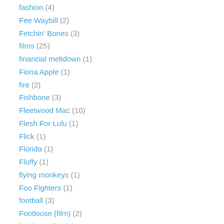fashion (4)
Fee Waybill (2)
Fetchin' Bones (3)
films (25)
financial meltdown (1)
Fiona Apple (1)
fire (2)
Fishbone (3)
Fleetwood Mac (10)
Flesh For Lulu (1)
Flick (1)
Florida (1)
Fluffy (1)
flying monkeys (1)
Foo Fighters (1)
football (3)
Footloose (film) (2)
foreign policy (2)
Foreigner (8)
Fossil (2)